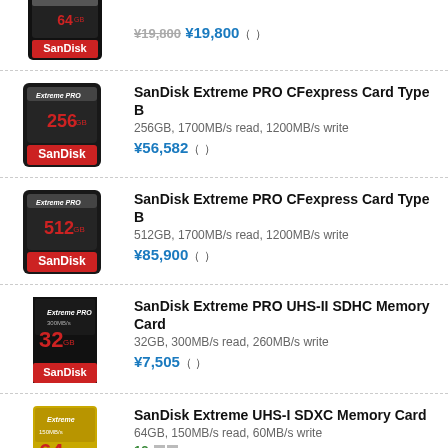[Figure (photo): SanDisk Extreme PRO CFexpress card 64GB (partial, top cropped)]
¥19,800 ( )
[Figure (photo): SanDisk Extreme PRO CFexpress Card Type B 256GB product image]
SanDisk Extreme PRO CFexpress Card Type B
256GB, 1700MB/s read, 1200MB/s write
¥56,582 ( )
[Figure (photo): SanDisk Extreme PRO CFexpress Card Type B 512GB product image]
SanDisk Extreme PRO CFexpress Card Type B
512GB, 1700MB/s read, 1200MB/s write
¥85,900 ( )
[Figure (photo): SanDisk Extreme PRO UHS-II SDHC Memory Card 32GB product image]
SanDisk Extreme PRO UHS-II SDHC Memory Card
32GB, 300MB/s read, 260MB/s write
¥7,505 ( )
[Figure (photo): SanDisk Extreme UHS-I SDXC Memory Card 64GB product image]
SanDisk Extreme UHS-I SDXC Memory Card
64GB, 150MB/s read, 60MB/s write
12  □□
¥2,585 ( )
Lexar 633X SDXC